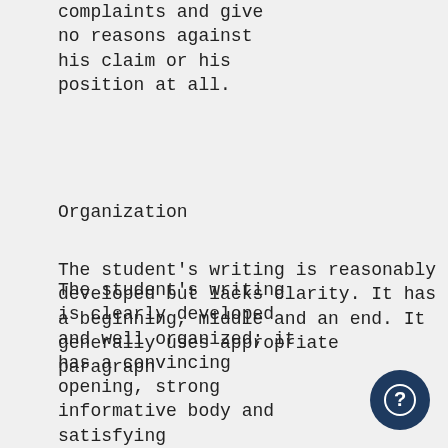complaints and give
no reasons against
his claim or his
position at all.
Organization
The student's writing
is clearly developed
and well organized; it
has a convincing
opening, strong
informative body and
satisfying
conclusion.
Paragraph format is
appropriate.
The student's writing is
reasonably developed
but lacks clarity. It has a
beginning, middle and
an end. It generally uses
appropriate paragraph